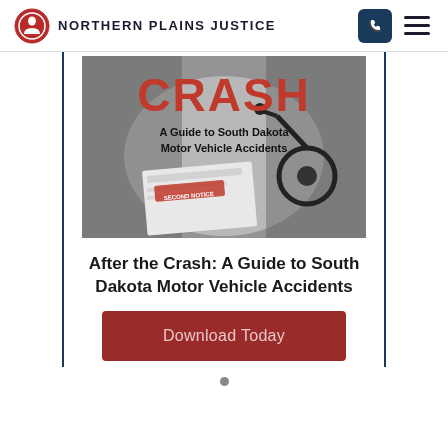NORTHERN PLAINS JUSTICE
[Figure (illustration): Book cover titled 'CRASH: A Guide to South Dakota Motor Vehicle Accidents' with a stethoscope and medical bill in background photo, black and white with red title text]
After the Crash: A Guide to South Dakota Motor Vehicle Accidents
Download Today